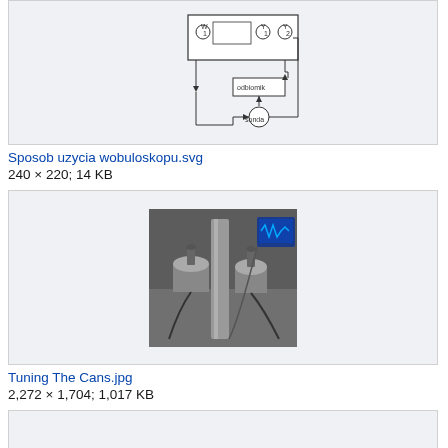[Figure (schematic): Circuit/wiring diagram of a wobuloscope (wobuloskopu) showing a device with labeled terminals W1, Y1, Y2, connected to an 'odbiomik' (receiver) block and 'sonda' (probe) component with arrows indicating signal flow.]
Sposob uzycia wobuloskopu.svg
240 × 220; 14 KB
[Figure (photo): Photograph of Tuning The Cans - laboratory/workshop equipment showing cylindrical metallic cans being tuned with tools, with an oscilloscope screen visible in the background.]
Tuning The Cans.jpg
2,272 × 1,704; 1,017 KB
[Figure (photo): Partial view of another image thumbnail at bottom of page (cropped).]